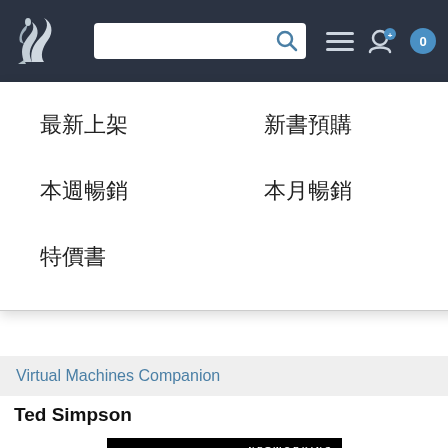[Figure (screenshot): Website navigation bar with logo, search field, and icons on dark background]
最新上架
新書預購
本週暢銷
本月暢銷
特價書
Virtual Machines Companion
Ted Simpson
[Figure (screenshot): Book cover for 'Virtual Machines Companion' with NETWORKING label on black background]